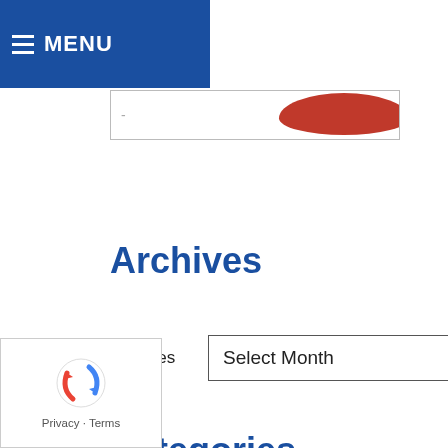MENU  559-674-2774
[Figure (screenshot): Partial search bar with red button on right side]
Archives
Archives  Select Month
Categories
Categories  Select Category
[Figure (other): reCAPTCHA badge with Privacy and Terms links]